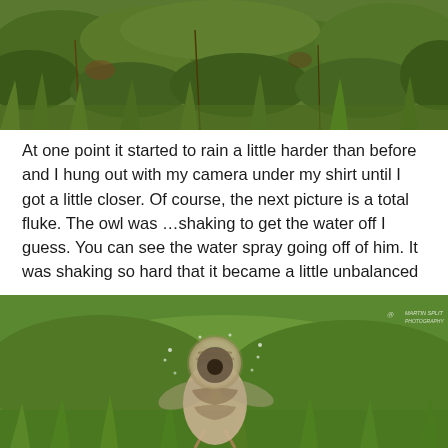[Figure (photo): Photograph of grass and foliage, green vegetation background, likely showing an owl partially hidden in the grass]
At one point it started to rain a little harder than before and I hung out with my camera under my shirt until I got a little closer. Of course, the next picture is a total fluke. The owl was …shaking to get the water off I guess. You can see the water spray going off of him. It was shaking so hard that it became a little unbalanced
[Figure (photo): Photograph of an owl shaking vigorously, its head spinning/blurred to show motion, standing on grass. A watermark in the top right corner reads photographer credit.]